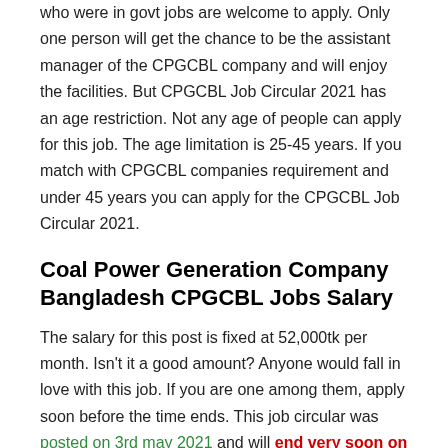who were in govt jobs are welcome to apply. Only one person will get the chance to be the assistant manager of the CPGCBL company and will enjoy the facilities. But CPGCBL Job Circular 2021 has an age restriction. Not any age of people can apply for this job. The age limitation is 25-45 years. If you match with CPGCBL companies requirement and under 45 years you can apply for the CPGCBL Job Circular 2021.
Coal Power Generation Company Bangladesh CPGCBL Jobs Salary
The salary for this post is fixed at 52,000tk per month. Isn't it a good amount? Anyone would fall in love with this job. If you are one among them, apply soon before the time ends. This job circular was posted on 3rd may 2021 and will end very soon on 30th May.